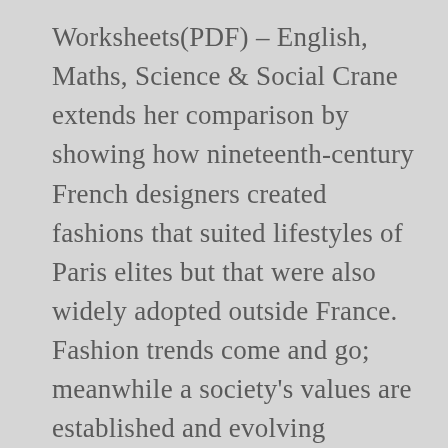Worksheets(PDF) – English, Maths, Science & Social Crane extends her comparison by showing how nineteenth-century French designers created fashions that suited lifestyles of Paris elites but that were also widely adopted outside France. Fashion trends come and go; meanwhile a society's values are established and evolving Oxford: Routledge & Culture and consumption: new approaches to the symbolic character of consumer goods & activities. Clothing: A Social History, Class 9 History NCERT Solutions. This narrative study responds to a paper and statement by Yang (2016:256) who states that "despite the positive prospects and functionality of wearable